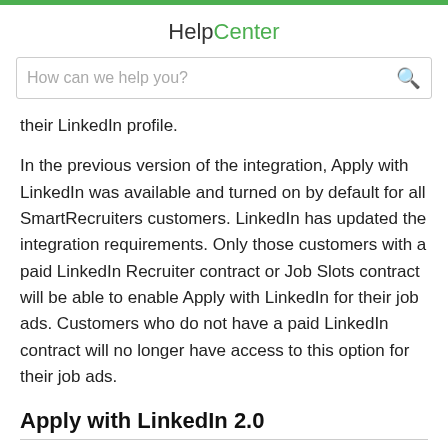HelpCenter
their LinkedIn profile.
In the previous version of the integration, Apply with LinkedIn was available and turned on by default for all SmartRecruiters customers. LinkedIn has updated the integration requirements. Only those customers with a paid LinkedIn Recruiter contract or Job Slots contract will be able to enable Apply with LinkedIn for their job ads. Customers who do not have a paid LinkedIn contract will no longer have access to this option for their job ads.
Apply with LinkedIn 2.0
The flow of Applying With LinkedIn will be even more delightful for candidates. After turning on the integration, candidates will